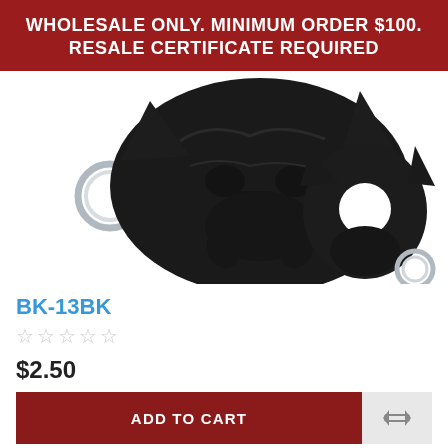WHOLESALE ONLY. MINIMUM ORDER $100. RESALE CERTIFICATE REQUIRED
[Figure (photo): Two black cat-shaped knuckle keychain self-defense tools on white background. One large showing front face, one smaller showing finger hole and keyring.]
BK-13BK
☆☆☆☆☆
$2.50
ADD TO CART